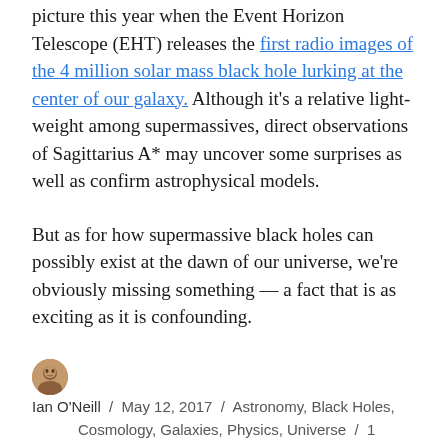… picture this year when the Event Horizon Telescope (EHT) releases the first radio images of the 4 million solar mass black hole lurking at the center of our galaxy. Although it's a relative light-weight among supermassives, direct observations of Sagittarius A* may uncover some surprises as well as confirm astrophysical models.
But as for how supermassive black holes can possibly exist at the dawn of our universe, we're obviously missing something — a fact that is as exciting as it is confounding.
Ian O'Neill / May 12, 2017 / Astronomy, Black Holes, Cosmology, Galaxies, Physics, Universe / 1 Comment